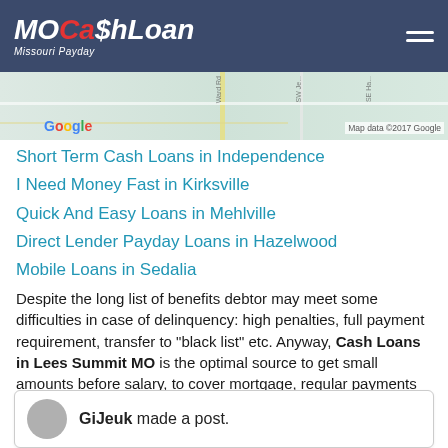MoCashLoan Missouri Payday
[Figure (screenshot): Google Maps street map screenshot showing local area roads, with 'Google' logo and 'Map data ©2017 Google' attribution]
Short Term Cash Loans in Independence
I Need Money Fast in Kirksville
Quick And Easy Loans in Mehlville
Direct Lender Payday Loans in Hazelwood
Mobile Loans in Sedalia
Despite the long list of benefits debtor may meet some difficulties in case of delinquency: high penalties, full payment requirement, transfer to "black list" etc. Anyway, Cash Loans in Lees Summit MO is the optimal source to get small amounts before salary, to cover mortgage, regular payments or to prevent credit card freezing.
GiJeuk made a post.